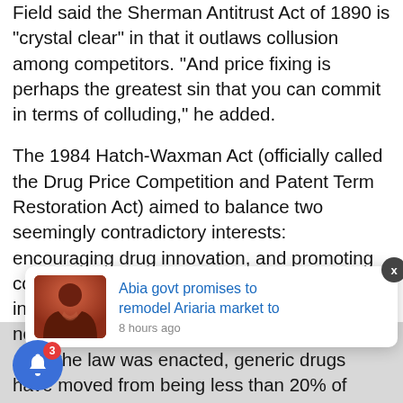Field said the Sherman Antitrust Act of 1890 is "crystal clear" in that it outlaws collusion among competitors. "And price fixing is perhaps the greatest sin that you can commit in terms of colluding," he added.
The 1984 Hatch-Waxman Act (officially called the Drug Price Competition and Patent Term Restoration Act) aimed to balance two seemingly contradictory interests: encouraging drug innovation, and promoting competition between brand and generic drugs in order to lower drug prices, the complaint noted. The act succeeded in both of its goals: After the law was enacted, generic drugs have moved from being less than 20% of prescriptions filled in the U.S. to nearly 90% of prescriptions filled. A recent study found that, in 201[x] alone, generic medicines saved $[x] billion for consumers, the [complaint noted.] Aside such statutes, the generic drug industry has operated for many years also with the informal
[Figure (screenshot): A notification popup overlay showing a person photo on the left and text 'Abia govt promises to remodel Ariaria market to' with timestamp '8 hours ago', plus an X close button and a blue bell notification button with badge '3' at bottom left.]